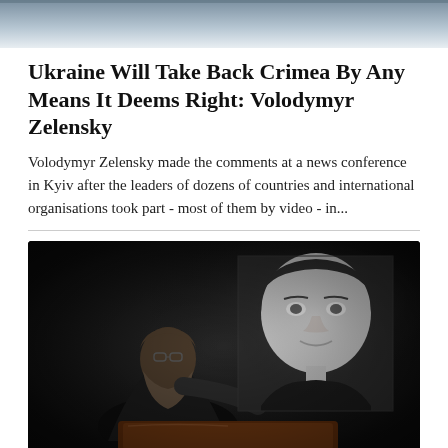[Figure (photo): Top portion of a news article page showing a partial image at the top (blue/grey tones, partially cropped)]
Ukraine Will Take Back Crimea By Any Means It Deems Right: Volodymyr Zelensky
Volodymyr Zelensky made the comments at a news conference in Kyiv after the leaders of dozens of countries and international organisations took part - most of them by video - in...
[Figure (photo): A dark photograph showing a bearded man in black with glasses at a funeral, with a black-and-white portrait photograph of a young woman displayed behind him, and the edge of a coffin visible at the bottom.]